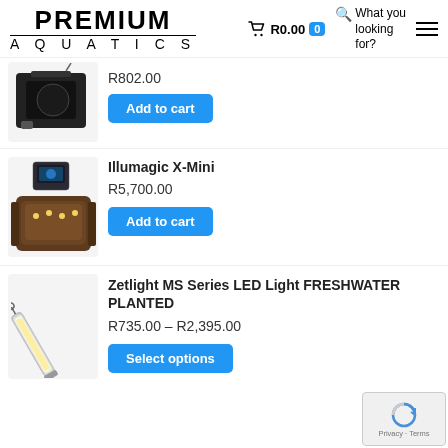[Figure (logo): Premium Aquatics logo with bold text]
R0.00  0
What you looking for?
R802.00
Add to cart
Illumagic X-Mini
R5,700.00
Add to cart
Zetlight MS Series LED Light FRESHWATER PLANTED
R735.00 – R2,395.00
Select options